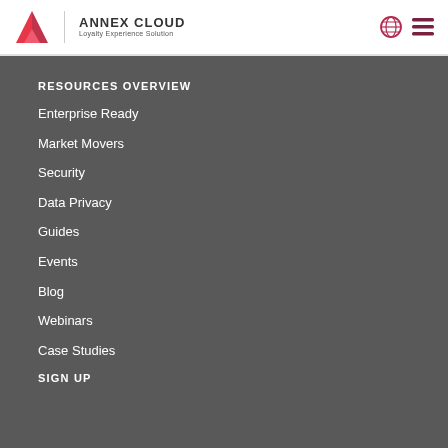ANNEX CLOUD Loyalty Experience Solution
RESOURCES OVERVIEW
Enterprise Ready
Market Movers
Security
Data Privacy
Guides
Events
Blog
Webinars
Case Studies
SIGN UP